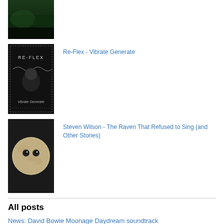[Figure (photo): Album cover thumbnail - dark green atmospheric landscape image]
[Figure (photo): Album cover for Re-Flex - Vibrate Generate, dark background with artist name and album title text]
Re-Flex - Vibrate Generate
[Figure (photo): Album cover for Steven Wilson - The Raven That Refused to Sing (and Other Stories), featuring a ghostly owl-like face on a moon]
Steven Wilson - The Raven That Refused to Sing (and Other Stories)
All posts
News: David Bowie Moonage Daydream soundtrack
Lonely Robot – A Model Life track-by-track album review
Bill Nelson's Red Noise – Art / Empire / Industry: The Complete Red Noise review